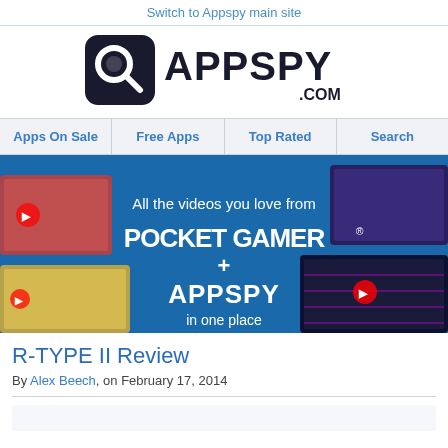Switch to Appspy main site
[Figure (logo): AppSpy.com logo with magnifying glass icon and bold sans-serif text]
Apps On Sale | Free Apps | Top Rated | Search
[Figure (illustration): Promotional banner: All the videos you love from Pocket Gamer + AppSpy in one place, with game screenshots on dark blue background]
R-TYPE II Review
By Alex Beech, on February 17, 2014